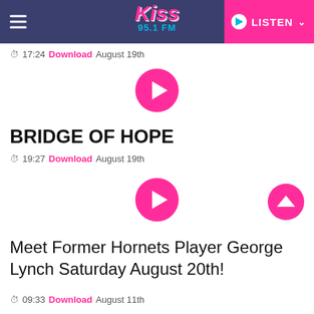[Figure (screenshot): Kiss 95.1 FM radio station website header with logo, hamburger menu, and pink LISTEN button]
17:24  Download  August 19th
[Figure (other): Pink circular play button]
BRIDGE OF HOPE
19:27  Download  August 19th
[Figure (other): Pink circular play button]
[Figure (other): Pink circular scroll-up button]
Meet Former Hornets Player George Lynch Saturday August 20th!
09:33  Download  August 11th